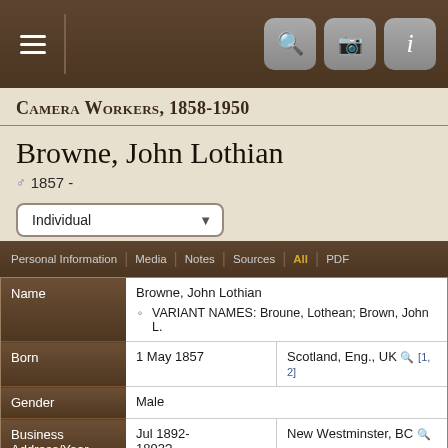Camera Workers, 1858-1950
Browne, John Lothian
1857 -
Individual (dropdown)
Personal Information | Media | Notes | Sources | All | PDF
|  |  |  |
| --- | --- | --- |
| Name | Browne, John Lothian | VARIANT NAMES: Broune, Lothean; Brown, John L. |
| Born | 1 May 1857 | Scotland, Eng., UK [1, 2] |
| Gender | Male |  |
| Business Address/Year | Jul 1892-1893? | New Westminster, BC |
| Address: |  |  |